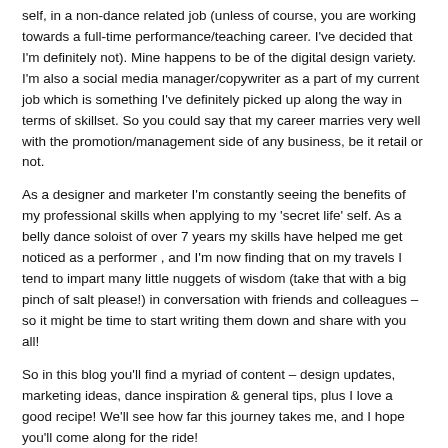self, in a non-dance related job (unless of course, you are working towards a full-time performance/teaching career. I've decided that I'm definitely not). Mine happens to be of the digital design variety. I'm also a social media manager/copywriter as a part of my current job which is something I've definitely picked up along the way in terms of skillset. So you could say that my career marries very well with the promotion/management side of any business, be it retail or not.
As a designer and marketer I'm constantly seeing the benefits of my professional skills when applying to my 'secret life' self. As a belly dance soloist of over 7 years my skills have helped me get noticed as a performer , and I'm now finding that on my travels I tend to impart many little nuggets of wisdom (take that with a big pinch of salt please!) in conversation with friends and colleagues – so it might be time to start writing them down and share with you all!
So in this blog you'll find a myriad of content – design updates, marketing ideas, dance inspiration & general tips, plus I love a good recipe! We'll see how far this journey takes me, and I hope you'll come along for the ride!
What you've missed:
Client Spotlight: Spirit of the Valley Events
Pixel&Glitter Creative partners with Award-Winning Fleurieu Fringe 2018
(partially visible)